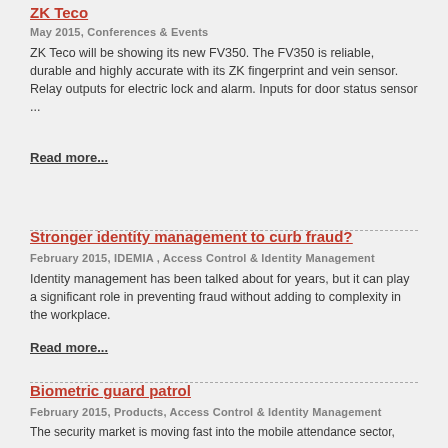ZK Teco
May 2015, Conferences & Events
ZK Teco will be showing its new FV350. The FV350 is reliable, durable and highly accurate with its ZK fingerprint and vein sensor. Relay outputs for electric lock and alarm. Inputs for door status sensor ...
Read more...
Stronger identity management to curb fraud?
February 2015, IDEMIA , Access Control & Identity Management
Identity management has been talked about for years, but it can play a significant role in preventing fraud without adding to complexity in the workplace.
Read more...
Biometric guard patrol
February 2015, Products, Access Control & Identity Management
The security market is moving fast into the mobile attendance sector, to make it easier for guards to be clocked in on shift and also monitor the perimeter.
Read more...
Designed for South Africa